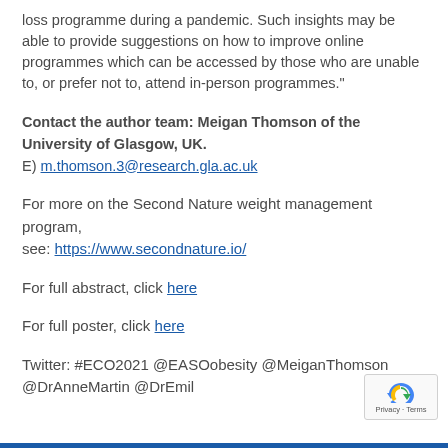loss programme during a pandemic. Such insights may be able to provide suggestions on how to improve online programmes which can be accessed by those who are unable to, or prefer not to, attend in-person programmes."
Contact the author team: Meigan Thomson of the University of Glasgow, UK.
E) m.thomson.3@research.gla.ac.uk
For more on the Second Nature weight management program,
see: https://www.secondnature.io/
For full abstract, click here
For full poster, click here
Twitter: #ECO2021 @EASOobesity @MeiganThomson @DrAnneMartin @DrEmil